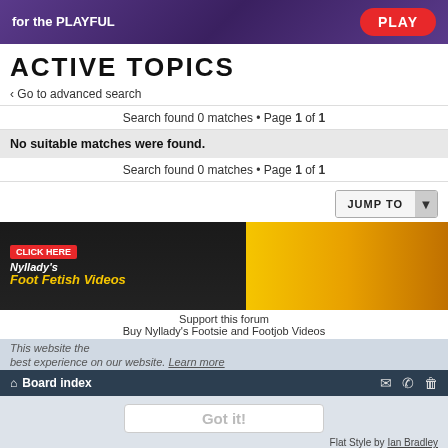[Figure (illustration): Top banner ad with purple background, text 'for the PLAYFUL' and red PLAY button]
ACTIVE TOPICS
< Go to advanced search
Search found 0 matches • Page 1 of 1
No suitable matches were found.
Search found 0 matches • Page 1 of 1
JUMP TO
[Figure (illustration): Ad banner: CLICK HERE badge, Nyllady's Foot Fetish Videos text on dark background, orange/yellow right side]
Support this forum
Buy Nyllady's Footsie and Footjob Videos
This website ... the best experience on our website. Learn more
Board index
Got it!
Flat Style by Ian Bradley
Powered by phpBB® Forum Software © phpBB Limited
Privacy | Terms